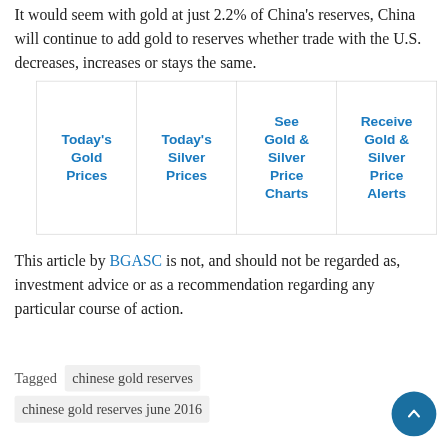It would seem with gold at just 2.2% of China's reserves, China will continue to add gold to reserves whether trade with the U.S. decreases, increases or stays the same.
| Today's Gold Prices | Today's Silver Prices | See Gold & Silver Price Charts | Receive Gold & Silver Price Alerts |
| --- | --- | --- | --- |
|  |
This article by BGASC is not, and should not be regarded as, investment advice or as a recommendation regarding any particular course of action.
Tagged  chinese gold reserves  chinese gold reserves june 2016